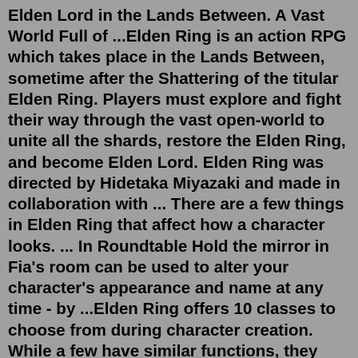Elden Lord in the Lands Between. A Vast World Full of ...Elden Ring is an action RPG which takes place in the Lands Between, sometime after the Shattering of the titular Elden Ring. Players must explore and fight their way through the vast open-world to unite all the shards, restore the Elden Ring, and become Elden Lord. Elden Ring was directed by Hidetaka Miyazaki and made in collaboration with ... There are a few things in Elden Ring that affect how a character looks. ... In Roundtable Hold the mirror in Fia's room can be used to alter your character's appearance and name at any time - by ...Elden Ring offers 10 classes to choose from during character creation. While a few have similar functions, they have different levels, stat spreads, and starting weapons.Mar 24, 2022 · Here's how to change character name in Elden Ring. How to Change Character Name in Elden Ring? You can rename your character and change appearance once you reach the Roundtable Hold. If you haven't unlocked it, you need to first get to Stormveil Castle and find a Site of Grace. Talk to Melina from there